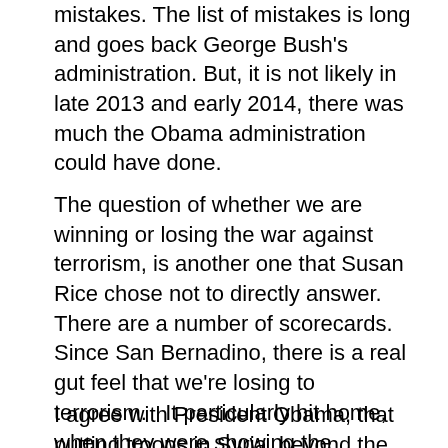mistakes. The list of mistakes is long and goes back George Bush's administration. But, it is not likely in late 2013 and early 2014, there was much the Obama administration could have done.
The question of whether we are winning or losing the war against terrorism, is another one that Susan Rice chose not to directly answer. There are a number of scorecards. Since San Bernadino, there is a real gut feel that we're losing to terrorism. It particularly hit home, when they were showing the stockpiles of arms and bullets these two terrorists had accumulated. But, this is not my scorecard. I see it more as the cities under their control and the growth of the organization world wide. A major defeat occurred when Boko Haram pledge allegiance to ISIL.
I agree with President Obama, that putting troops in Syria, beyond the small special op's group, would be